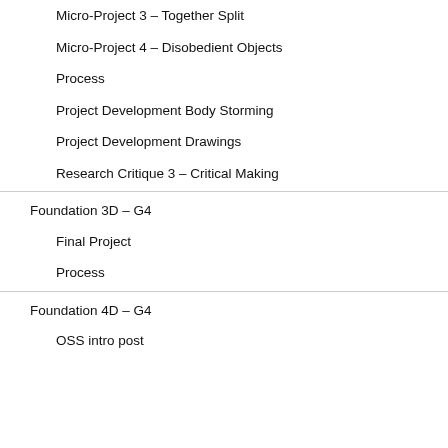Micro-Project 3 – Together Split
Micro-Project 4 – Disobedient Objects
Process
Project Development Body Storming
Project Development Drawings
Research Critique 3 – Critical Making
Foundation 3D – G4
Final Project
Process
Foundation 4D – G4
OSS intro post